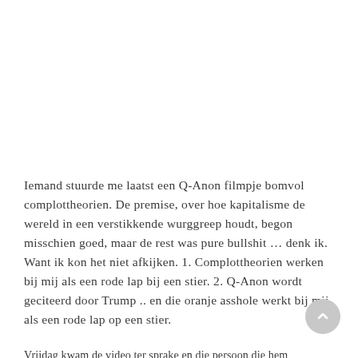Iemand stuurde me laatst een Q-Anon filmpje bomvol complottheorien. De premise, over hoe kapitalisme de wereld in een verstikkende wurggreep houdt, begon misschien goed, maar de rest was pure bullshit … denk ik. Want ik kon het niet afkijken. 1. Complottheorien werken bij mij als een rode lap bij een stier. 2. Q-Anon wordt geciteerd door Trump .. en die oranje asshole werkt bij mij als een rode lap op een stier.
Vrijdag kwam de video ter sprake en die persoon die hem